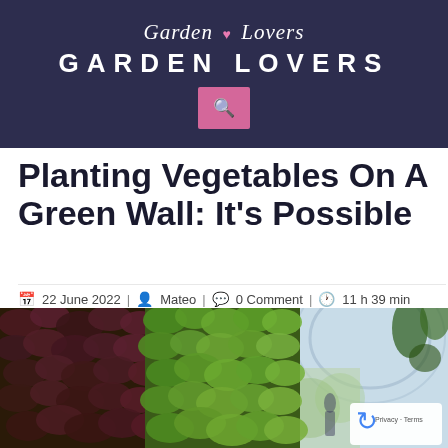Garden Lovers — GARDEN LOVERS
Planting Vegetables On A Green Wall: It's Possible
22 June 2022 | Mateo | 0 Comment | 11 h 39 min
[Figure (photo): A lush green wall covered in various plants including leafy vegetables and trailing vines inside a greenhouse structure with a glass dome visible in the background]